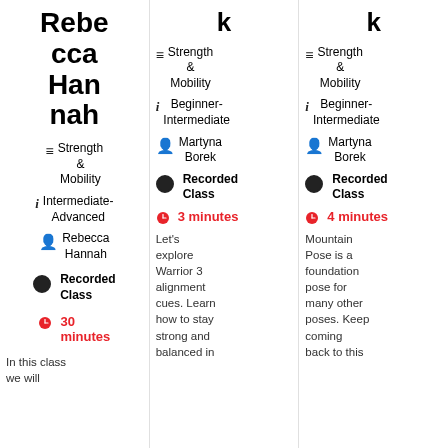Rebecca Hannah
Strength & Mobility Intermediate-Advanced
Rebecca Hannah
Recorded Class
30 minutes
In this class we will
k
Strength & Mobility Beginner-Intermediate
Martyna Borek
Recorded Class
3 minutes
Let's explore Warrior 3 alignment cues. Learn how to stay strong and balanced in
k
Strength & Mobility Beginner-Intermediate
Martyna Borek
Recorded Class
4 minutes
Mountain Pose is a foundation pose for many other poses. Keep coming back to this